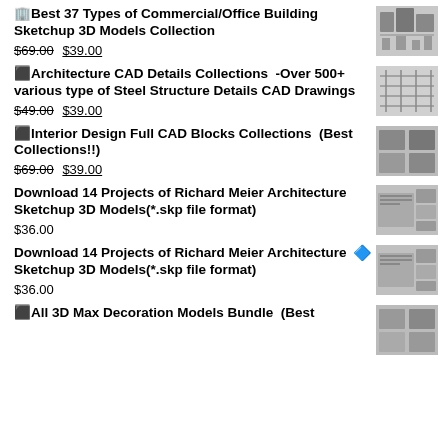🏢Best 37 Types of Commercial/Office Building Sketchup 3D Models Collection
$69.00 $39.00
⬛Architecture CAD Details Collections -Over 500+ various type of Steel Structure Details CAD Drawings
$49.00 $39.00
⬛Interior Design Full CAD Blocks Collections (Best Collections!!)
$69.00 $39.00
Download 14 Projects of Richard Meier Architecture Sketchup 3D Models(*.skp file format)
$36.00
Download 14 Projects of Richard Meier Architecture Sketchup 3D Models(*.skp file format)
$36.00
⬛All 3D Max Decoration Models Bundle (Best